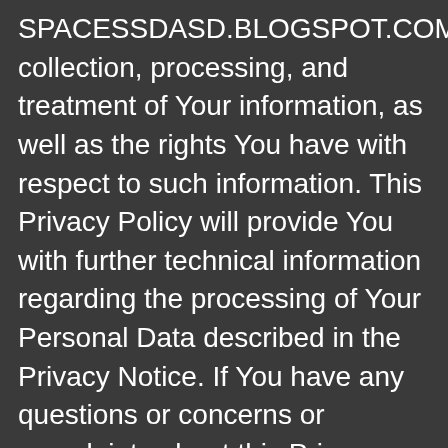SPACESSDASD.BLOGSPOT.COM's collection, processing, and treatment of Your information, as well as the rights You have with respect to such information. This Privacy Policy will provide You with further technical information regarding the processing of Your Personal Data described in the Privacy Notice. If You have any questions or concerns or complaints about this Privacy Policy or Our data collection or processing practices, or if You want to report any security violations to us, please contact Us at: support@CONTRIB.com.